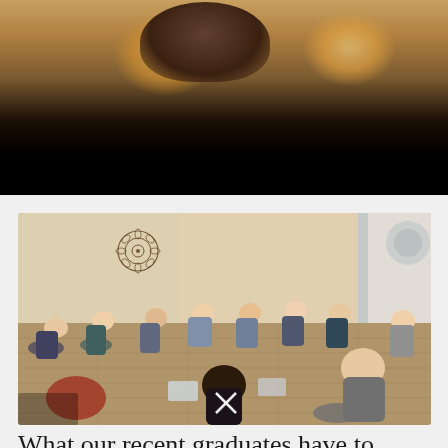[Figure (photo): Top portion of a photo showing warm glowing lights against a dark background, possibly candles or decorative lights in a yoga studio]
[Figure (photo): Group of people sitting in a circle on a wooden floor in a yoga studio, with a mandala decoration on the wall. They appear to be in a teacher training session.]
What our recent graduates have to say...
"Yoga is something that makes me feel good all over, inside and out. Before signing up for the 200 hr Open Doors Yoga Teacher Training, I was a yoga novice. I had a lot to learn about the art